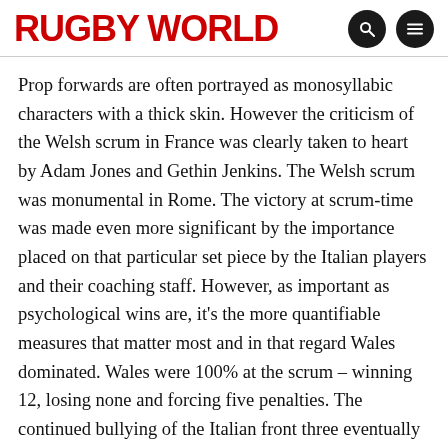RUGBY WORLD
Prop forwards are often portrayed as monosyllabic characters with a thick skin. However the criticism of the Welsh scrum in France was clearly taken to heart by Adam Jones and Gethin Jenkins. The Welsh scrum was monumental in Rome. The victory at scrum-time was made even more significant by the importance placed on that particular set piece by the Italian players and their coaching staff. However, as important as psychological wins are, it's the more quantifiable measures that matter most and in that regard Wales dominated. Wales were 100% at the scrum – winning 12, losing none and forcing five penalties. The continued bullying of the Italian front three eventually led to Martin Castrogiovanni being sin binned in the 58th minute with Alex Cuthbert scoring two minutes later